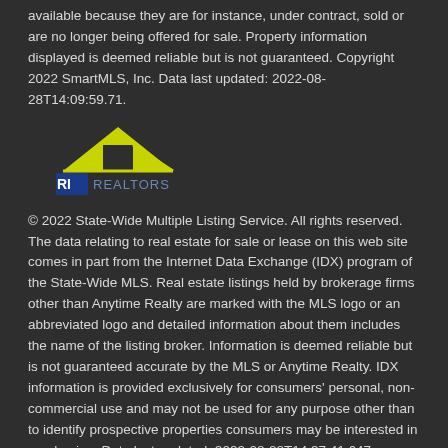available because they are for instance, under contract, sold or are no longer being offered for sale. Property information displayed is deemed reliable but is not guaranteed. Copyright 2022 SmartMLS, Inc. Data last updated: 2022-08-28T14:09:59.71.
[Figure (logo): RI Realtor / real estate logo with yellow roofline graphic and blue RI text]
© 2022 State-Wide Multiple Listing Service. All rights reserved. The data relating to real estate for sale or lease on this web site comes in part from the Internet Data Exchange (IDX) program of the State-Wide MLS. Real estate listings held by brokerage firms other than Anytime Realty are marked with the MLS logo or an abbreviated logo and detailed information about them includes the name of the listing broker. Information is deemed reliable but is not guaranteed accurate by the MLS or Anytime Realty. IDX information is provided exclusively for consumers' personal, non-commercial use and may not be used for any purpose other than to identify prospective properties consumers may be interested in purchasing. Data last updated: 2022-08-28T14:37:41.647.